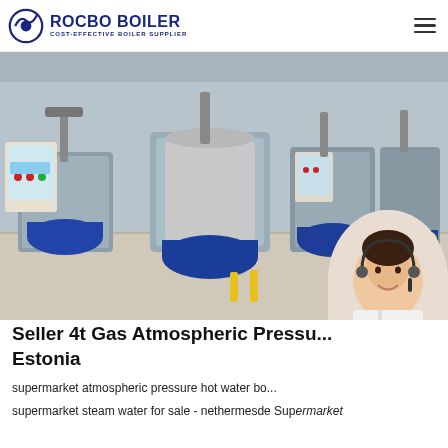ROCBO BOILER - COST-EFFECTIVE BOILER SUPPLIER
[Figure (photo): Industrial boiler room with multiple large gas/steam boilers in blue and silver, with control panels, pipes, and a 10% DISCOUNT badge overlay in the lower right corner.]
Seller 4t Gas Atmospheric Pressure Estonia
supermarket atmospheric pressure hot water bo...
supermarket steam water for sale - nethermesde Supermarket